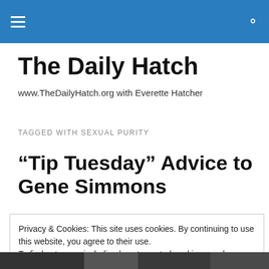The Daily Hatch – navigation header
The Daily Hatch
www.TheDailyHatch.org with Everette Hatcher
TAGGED WITH SEXUAL PURITY
“Tip Tuesday” Advice to Gene Simmons
Privacy & Cookies: This site uses cookies. By continuing to use this website, you agree to their use.
To find out more, including how to control cookies, see here: Cookie Policy
Close and accept